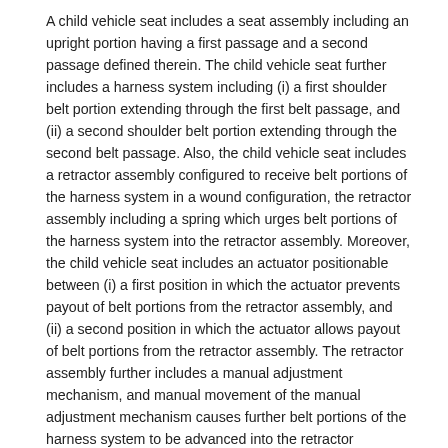A child vehicle seat includes a seat assembly including an upright portion having a first passage and a second passage defined therein. The child vehicle seat further includes a harness system including (i) a first shoulder belt portion extending through the first belt passage, and (ii) a second shoulder belt portion extending through the second belt passage. Also, the child vehicle seat includes a retractor assembly configured to receive belt portions of the harness system in a wound configuration, the retractor assembly including a spring which urges belt portions of the harness system into the retractor assembly. Moreover, the child vehicle seat includes an actuator positionable between (i) a first position in which the actuator prevents payout of belt portions from the retractor assembly, and (ii) a second position in which the actuator allows payout of belt portions from the retractor assembly. The retractor assembly further includes a manual adjustment mechanism, and manual movement of the manual adjustment mechanism causes further belt portions of the harness system to be advanced into the retractor assembly.